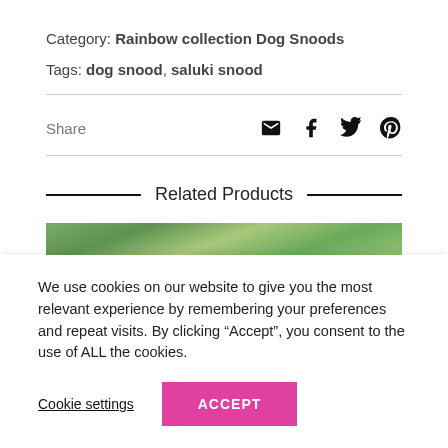Category: Rainbow collection Dog Snoods
Tags: dog snood, saluki snood
Share
Related Products
[Figure (photo): Blurred green foliage background image for a related product]
We use cookies on our website to give you the most relevant experience by remembering your preferences and repeat visits. By clicking “Accept”, you consent to the use of ALL the cookies.
Cookie settings
ACCEPT